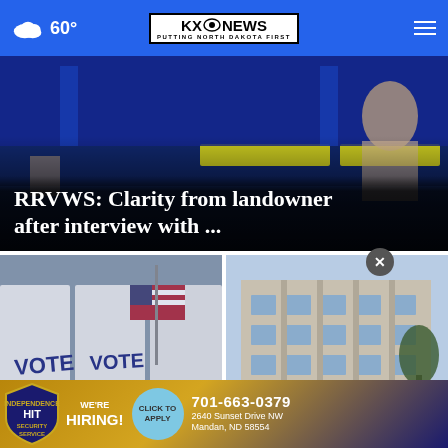60° — KX News: Putting North Dakota First
[Figure (screenshot): Hero image showing TV studio scene with blue lighting and people at a desk]
RRVWS: Clarity from landowner after interview with ...
[Figure (photo): Voting booths and American flags]
Term limits petition suit ... Secretary ...
[Figure (photo): Exterior of a government building]
Burleigh ... ict challenge...
[Figure (infographic): Advertisement banner: HIT Security Service - We're Hiring! Click To Apply. 701-663-0379, 2640 Sunset Drive NW, Mandan, ND 58554]